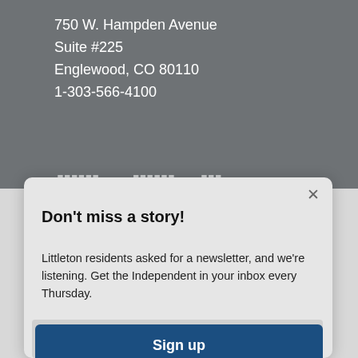750 W. Hampden Avenue
Suite #225
Englewood, CO 80110
1-303-566-4100
[Figure (screenshot): Newsletter signup modal popup with title 'Don't miss a story!', body text about Littleton Independent newsletter, email input field, and Sign up button]
Don't miss a story!
Littleton residents asked for a newsletter, and we're listening. Get the Independent in your inbox every Thursday.
Enter your email
Sign up